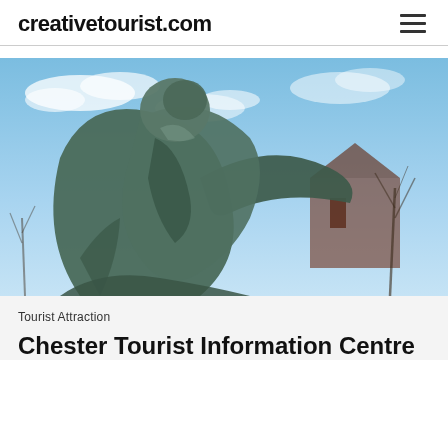creativetourist.com
[Figure (photo): Large bronze abstract sculpture photographed from below against a blue sky with clouds; a Gothic-style brick church building and bare winter trees visible in the background.]
Tourist Attraction
Chester Tourist Information Centre